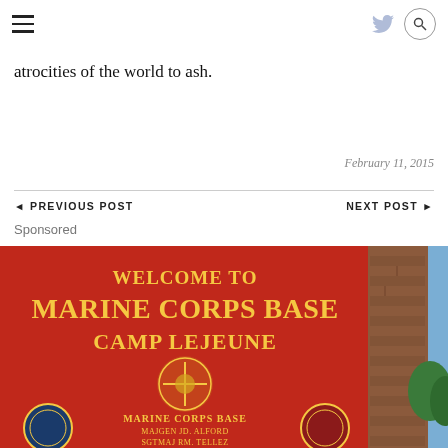Navigation header with hamburger menu, Twitter icon, and search button
atrocities of the world to ash.
February 11, 2015
◄ PREVIOUS POST
NEXT POST ►
Sponsored
[Figure (photo): A large red sign reading WELCOME TO MARINE CORPS BASE CAMP LEJEUNE with yellow lettering and military emblems, with a brick pillar and trees visible to the right and blue sky above. Bottom text shows MARINE CORPS BASE, MAJGEN JD. ALFORD, SGTMAJ RM. TELLEZ]